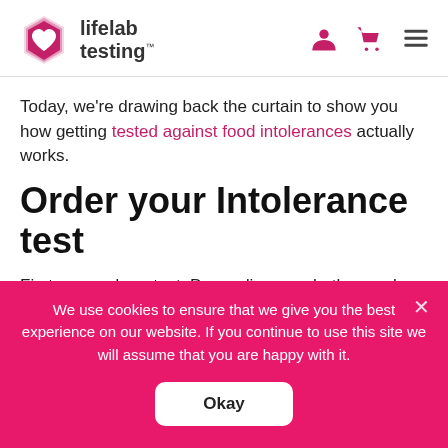lifelab testing
Today, we're drawing back the curtain to show you how getting tested against food intolerances actually works.
Order your Intolerance test
First, you order a test. Depending on whether you've opted for a blood or hair test, you'll either print out a form or receive a kit in the
We use cookies to ensure that we give you the best experience on our website. If you continue to use this site we will assume that you are happy with it.